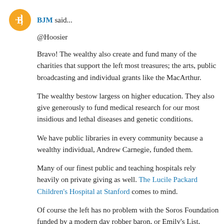BJM said...
@Hoosier
Bravo! The wealthy also create and fund many of the charities that support the left most treasures; the arts, public broadcasting and individual grants like the MacArthur.
The wealthy bestow largess on higher education. They also give generously to fund medical research for our most insidious and lethal diseases and genetic conditions.
We have public libraries in every community because a wealthy individual, Andrew Carnegie, funded them.
Many of our finest public and teaching hospitals rely heavily on private giving as well. The Lucile Packard Children's Hospital at Stanford comes to mind.
Of course the left has no problem with the Soros Foundation funded by a modern day robber baron, or Emily's List, moveon.org or a dozen others who were funded byabled left/atheist...